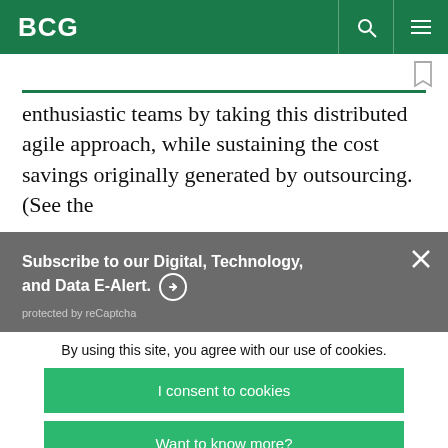BCG
enthusiastic teams by taking this distributed agile approach, while sustaining the cost savings originally generated by outsourcing. (See the
Subscribe to our Digital, Technology, and Data E-Alert. ➔
protected by reCaptcha
By using this site, you agree with our use of cookies.
I consent to cookies
Want to know more?
Read our Cookie Policy